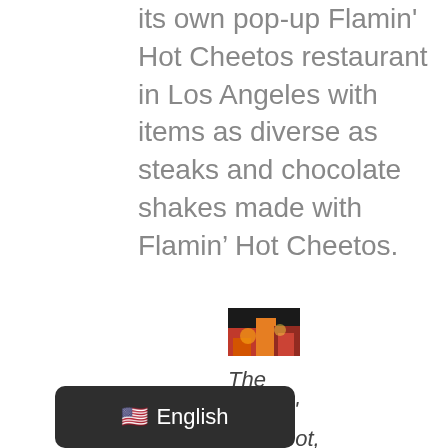its own pop-up Flamin' Hot Cheetos restaurant in Los Angeles with items as diverse as steaks and chocolate shakes made with Flamin' Hot Cheetos.
[Figure (photo): Small thumbnail photo showing what appears to be food or flames, related to Flamin' Hot Cheetos.]
The Flamin' Hot Spot,
English